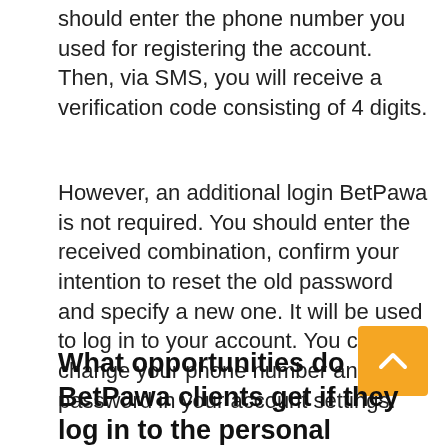should enter the phone number you used for registering the account. Then, via SMS, you will receive a verification code consisting of 4 digits.
However, an additional login BetPawa is not required. You should enter the received combination, confirm your intention to reset the old password and specify a new one. It will be used to log in to your account. You can change your phone number and password in your account settings.
[Figure (other): Button labeled YOUR FREE BONUS with a purple/lavender border and text]
What opportunities do BetPawa clients get if they log in to the personal